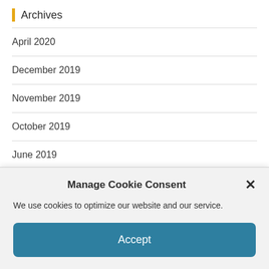Archives
April 2020
December 2019
November 2019
October 2019
June 2019
January 2019
Manage Cookie Consent
We use cookies to optimize our website and our service.
Accept